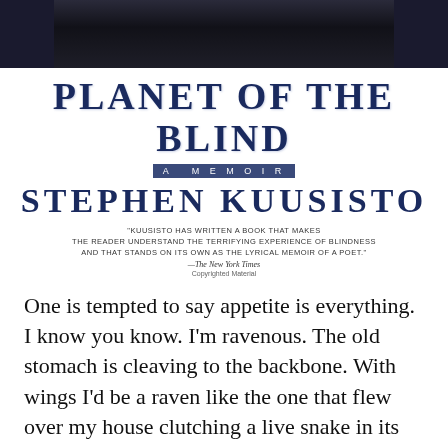[Figure (photo): Black and white photograph of a person, partially visible at the top of the page]
PLANET OF THE BLIND
A MEMOIR
STEPHEN KUUSISTO
"KUUSISTO HAS WRITTEN A BOOK THAT MAKES THE READER UNDERSTAND THE TERRIFYING EXPERIENCE OF BLINDNESS AND THAT STANDS ON ITS OWN AS THE LYRICAL MEMOIR OF A POET." —THE NEW YORK TIMES
Copyrighted Material
One is tempted to say appetite is everything. I know you know. I’m ravenous. The old stomach is cleaving to the backbone. With wings I’d be a raven like the one that flew over my house clutching a live snake in its beak. Now the raven is nature’s true hunger. With human beings appetite becomes voracity, greed, it’s